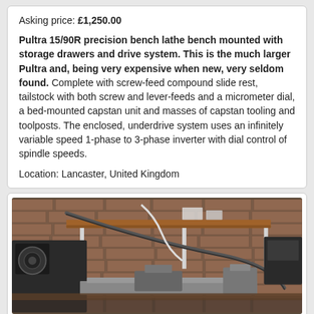Asking price: £1,250.00
Pultra 15/90R precision bench lathe bench mounted with storage drawers and drive system. This is the much larger Pultra and, being very expensive when new, very seldom found. Complete with screw-feed compound slide rest, tailstock with both screw and lever-feeds and a micrometer dial, a bed-mounted capstan unit and masses of capstan tooling and toolposts. The enclosed, underdrive system uses an infinitely variable speed 1-phase to 3-phase inverter with dial control of spindle speeds.
Location: Lancaster, United Kingdom
[Figure (photo): Photograph of a Pultra precision bench lathe mounted on a bench against a brick wall, with various tooling and equipment visible, wooden shelves, and cables/hoses connected to the machine.]